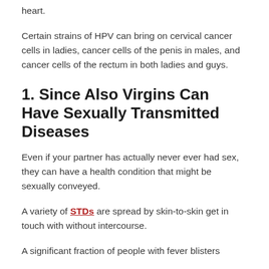heart.
Certain strains of HPV can bring on cervical cancer cells in ladies, cancer cells of the penis in males, and cancer cells of the rectum in both ladies and guys.
1. Since Also Virgins Can Have Sexually Transmitted Diseases
Even if your partner has actually never ever had sex, they can have a health condition that might be sexually conveyed.
A variety of STDs are spread by skin-to-skin get in touch with without intercourse.
A significant fraction of people with fever blisters